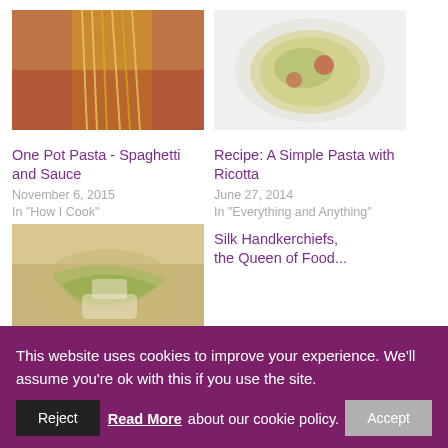[Figure (photo): Photo of spaghetti pasta with tomato sauce ingredients]
One Pot Pasta - Spaghetti and Sauce
November 6, 2015
In "How I Cook"
[Figure (photo): Photo of pasta with ricotta on a white plate]
Recipe: A Simple Pasta with Ricotta
June 27, 2014
In "Everything and Anything"
[Figure (photo): Photo of silk handkerchief pasta with greens]
Silk Handkerchiefs, the Queen of Food...
This website uses cookies to improve your experience. We'll assume you're ok with this if you use the site.
Reject
Read More about our cookie policy.
Accept